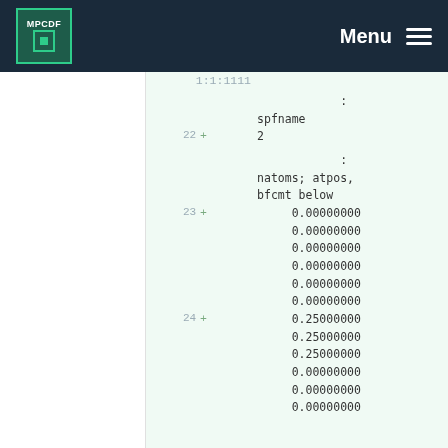MPCDF — Menu
...   1:1:1111
:
spfname
22  +  2
:
natoms; atpos, bfcmt below
23  +  0.00000000
      0.00000000
      0.00000000
      0.00000000
      0.00000000
      0.00000000
24  +  0.25000000
      0.25000000
      0.25000000
      0.00000000
      0.00000000
      0.00000000